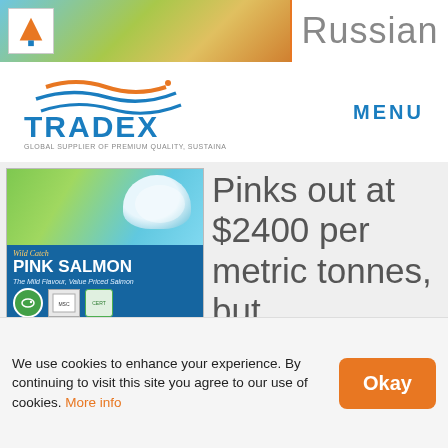Russian
[Figure (logo): Tradex logo with fish and wave symbol, text: TRADEX GLOBAL SUPPLIER OF PREMIUM QUALITY, SUSTAINABLE SEAFOOD]
MENU
[Figure (photo): Wild Catch Pink Salmon product box image showing salmon dish and certification logos. Text: Wild Catch PINK SALMON The Mild Flavour, Value Priced Salmon]
Pinks out at $2400 per metric tonnes, but plants are not in a rush to buy as they think pricing is going to drop to $2200.
We use cookies to enhance your experience. By continuing to visit this site you agree to our use of cookies. More info